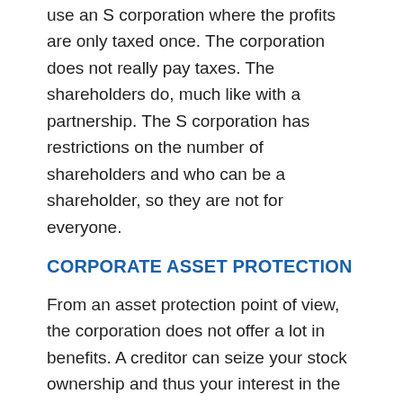use an S corporation where the profits are only taxed once. The corporation does not really pay taxes. The shareholders do, much like with a partnership. The S corporation has restrictions on the number of shareholders and who can be a shareholder, so they are not for everyone.
CORPORATE ASSET PROTECTION
From an asset protection point of view, the corporation does not offer a lot in benefits. A creditor can seize your stock ownership and thus your interest in the company. In an S corporation, if you are the sole shareholder they may seize all of your stock and thus gain access to all of the assets of the company.
The stock in a C corporation can be placed in a Limited Liability Company or an Asset Protection